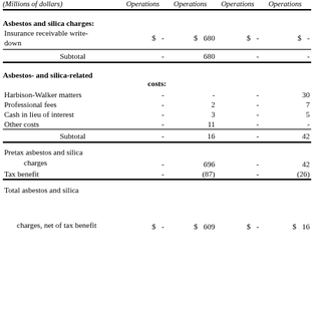| (Millions of dollars) | Operations | Operations | Operations | Operations |
| --- | --- | --- | --- | --- |
| Asbestos and silica charges: |  |  |  |  |
| Insurance receivable write-down | $    - | $    680 | $    - | $    - |
| Subtotal | - | 680 | - | - |
| Asbestos- and silica-related costs: |  |  |  |  |
| Harbison-Walker matters | - | - | - | 30 |
| Professional fees | - | 2 | - | 7 |
| Cash in lieu of interest | - | 3 | - | 5 |
| Other costs | - | 11 | - | - |
| Subtotal | - | 16 | - | 42 |
| Pretax asbestos and silica charges | - | 696 | - | 42 |
| Tax benefit | - | (87) | - | (26) |
| Total asbestos and silica charges, net of tax benefit | $    - | $    609 | $    - | $    16 |